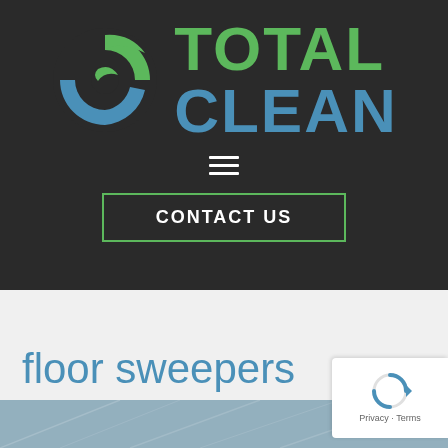[Figure (logo): Total Clean company logo: circular icon with green upper arc and blue lower arc forming a C shape with a leaf/wave motif, next to the text TOTAL in green and CLEAN in blue, bold uppercase]
[Figure (other): Hamburger menu icon: three horizontal white lines stacked vertically centered on dark background]
CONTACT US
floor sweepers
[Figure (photo): Partial view of what appears to be an industrial or commercial interior space with structural steel elements, photographed from a low angle]
[Figure (other): reCAPTCHA badge in bottom right corner showing the reCAPTCHA spinner icon and 'Privacy - Terms' text]